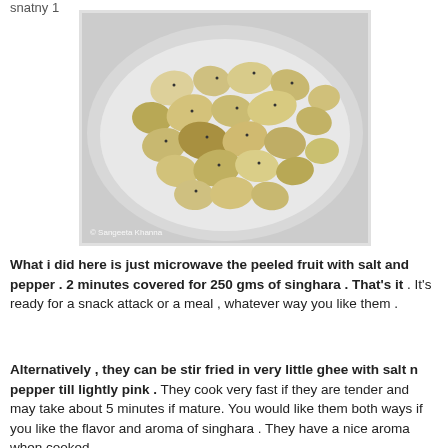snatny 1
[Figure (photo): A white plate filled with peeled singhara (water chestnuts) sprinkled with black pepper, photographed overhead. Watermark reads: © Sangeeta Khanna]
What i did here is just microwave the peeled fruit with salt and pepper . 2 minutes covered for 250 gms of singhara . That's it . It's ready for a snack attack or a meal , whatever way you like them .
Alternatively , they can be stir fried in very little ghee with salt n pepper till lightly pink . They cook very fast if they are tender and may take about 5 minutes if mature. You would like them both ways if you like the flavor and aroma of singhara . They have a nice aroma when cooked .